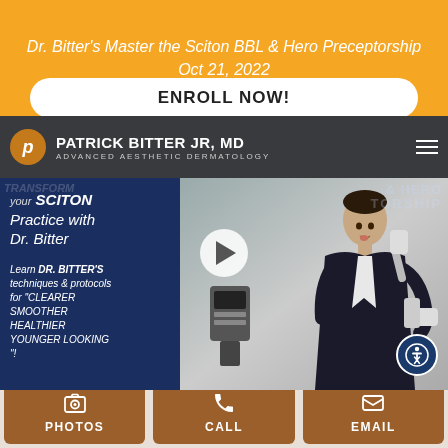Dr. Bitter's Master the Sciton BBL & Hero Preceptorship
Oct 21, 2022
ENROLL NOW!
[Figure (screenshot): Promotional screenshot showing Patrick Bitter Jr, MD Advanced Aesthetic Dermatology website header with logo, and a video thumbnail featuring Dr. Bitter holding a Sciton device with text overlay about Sciton practice, BBL & Hero Preceptorship, with play button visible]
PATRICK BITTER JR, MD
ADVANCED AESTHETIC DERMATOLOGY
your SCITON Practice with Dr. Bitter
Learn DR. BITTER'S techniques & protocols for "CLEARER SMOOTHER HEALTHIER YOUNGER LOOKING"
PHOTOS
CALL
EMAIL